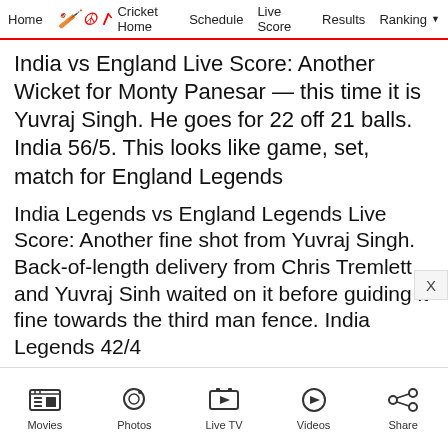Home | Cricket Home | Schedule | Live Score | Results | Ranking
India vs England Live Score: Another Wicket for Monty Panesar — this time it is Yuvraj Singh. He goes for 22 off 21 balls. India 56/5. This looks like game, set, match for England Legends
India Legends vs England Legends Live Score: Another fine shot from Yuvraj Singh. Back-of-length delivery from Chris Tremlett and Yuvraj Sinh waited on it before guiding it fine towards the third man fence. India Legends 42/4
Movies | Photos | Live TV | Videos | Share